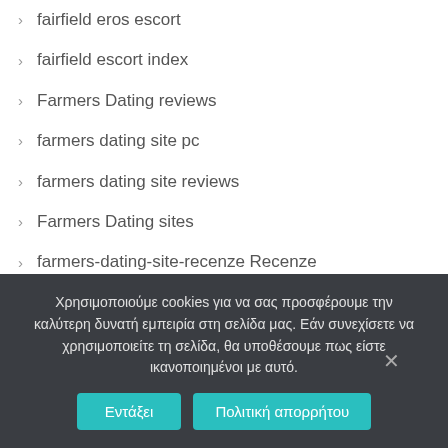fairfield eros escort
fairfield escort index
Farmers Dating reviews
farmers dating site pc
farmers dating site reviews
Farmers Dating sites
farmers-dating-site-recenze Recenze
farmersonly visitors
fast cash payday loans
Χρησιμοποιούμε cookies για να σας προσφέρουμε την καλύτερη δυνατή εμπειρία στη σελίδα μας. Εάν συνεχίσετε να χρησιμοποιείτε τη σελίδα, θα υποθέσουμε πως είστε ικανοποιημένοι με αυτό.
Εντάξει | Πολιτική απορρήτου